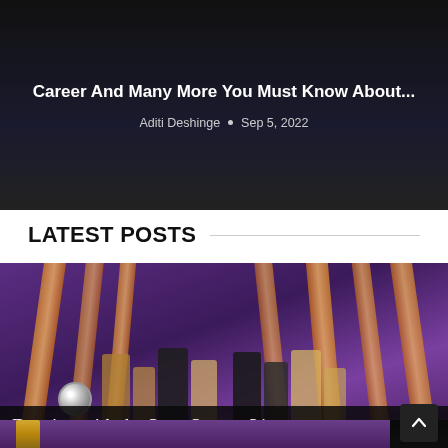[Figure (photo): Dark hero banner with white bold text overlay showing article title and author/date metadata]
Career And Many More You Must Know About...
Aditi Deshinge • Sep 5, 2022
LATEST POSTS
[Figure (photo): Photo of Dancing with the Stars Season 31 stage with performers in sequined costumes, rose gold pillars, purple stage lighting, with a disco ball visible. Overlay text reads 'Dancing with the Stars Season 31'.]